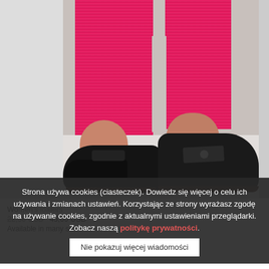[Figure (photo): Photo of a person's lower legs wearing bright pink wide-leg ribbed trousers and black suede loafers with a bow detail, standing on a white surface. Left shoe shows a bow/tassel accent, right shoe shows a prominent satin bow on the vamp.]
Strona używa cookies (ciasteczek). Dowiedz się więcej o celu ich używania i zmianach ustawień. Korzystając ze strony wyrażasz zgodę na używanie cookies, zgodnie z aktualnymi ustawieniami przeglądarki. Zobacz naszą politykę prywatności.
Nie pokazuj więcej wiadomości
Women's loafers
22,50 USD  45,00 USD
Available in many sizes